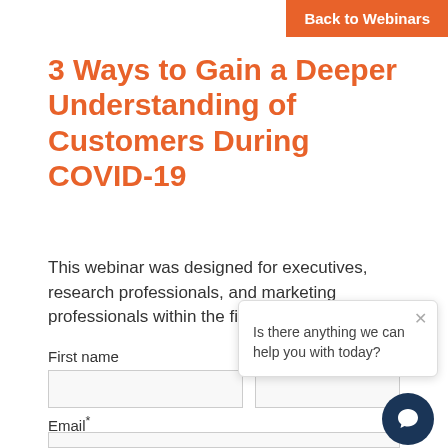Back to Webinars
3 Ways to Gain a Deeper Understanding of Customers During COVID-19
This webinar was designed for executives, research professionals, and marketing professionals within the finance industry.
First name
Email*
[Figure (other): Chat popup widget with close button and text 'Is there anything we can help you with today?' and a dark navy chat bubble icon button in the bottom right corner.]